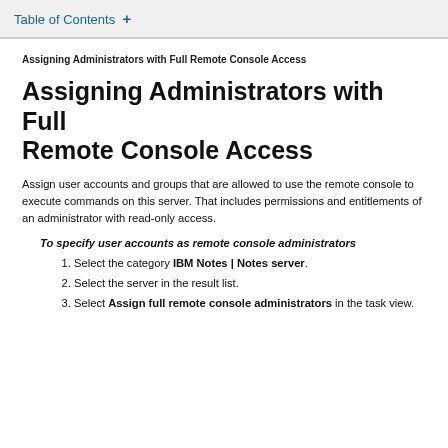Table of Contents +
Assigning Administrators with Full Remote Console Access
Assigning Administrators with Full Remote Console Access
Assign user accounts and groups that are allowed to use the remote console to execute commands on this server. That includes permissions and entitlements of an administrator with read-only access.
To specify user accounts as remote console administrators
Select the category IBM Notes | Notes server.
Select the server in the result list.
Select Assign full remote console administrators in the task view.